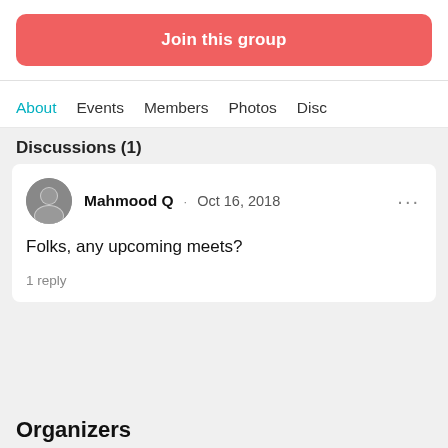[Figure (other): Join this group button (red/coral rounded rectangle)]
About · Events · Members · Photos · Disc
Discussions (1)
Mahmood Q · Oct 16, 2018
Folks, any upcoming meets?
1 reply
Organizers